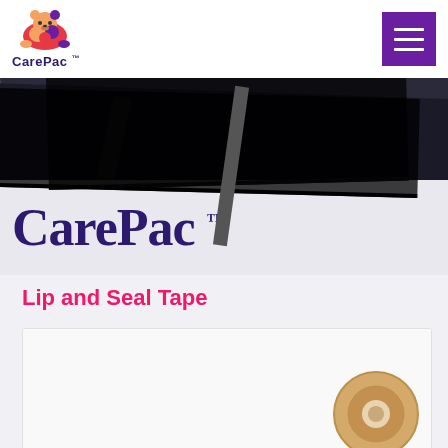CarePac™ — navigation header with logo and menu button
[Figure (photo): Photo of dark black packaging panels/boards with 'CarePac TM' text printed on white surface below them]
Lip and Seal Tape
[Figure (photo): Partial photo showing a roll of tape on a light background, partially visible at bottom of page]